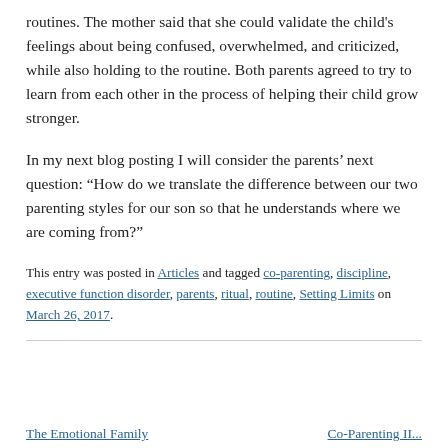routines. The mother said that she could validate the child's feelings about being confused, overwhelmed, and criticized, while also holding to the routine. Both parents agreed to try to learn from each other in the process of helping their child grow stronger.
In my next blog posting I will consider the parents' next question: “How do we translate the difference between our two parenting styles for our son so that he understands where we are coming from?”
This entry was posted in Articles and tagged co-parenting, discipline, executive function disorder, parents, ritual, routine, Setting Limits on March 26, 2017.
The Emotional Family     Co-Parenting II...